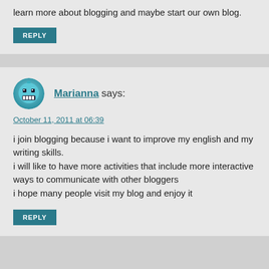learn more about blogging and maybe start our own blog.
REPLY
[Figure (illustration): Avatar icon for user Marianna — cartoon face with teal/blue tones]
Marianna says:
October 11, 2011 at 06:39
i join blogging because i want to improve my english and my writing skills.
i will like to have more activities that include more interactive ways to communicate with other bloggers
i hope many people visit my blog and enjoy it
REPLY